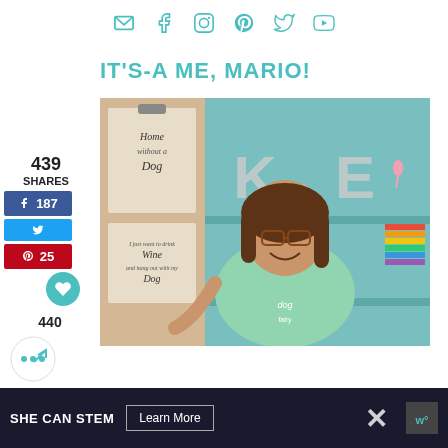Social media icons: email, facebook, instagram, pinterest, twitter, youtube
IT'S-A ME, MARIO!
[Figure (photo): A smiling woman with glasses and brown hair, wearing a light green t-shirt with a dog-themed design, pointing to a teal shelving unit decorated with letters K and E, flamingo figurines, clipboards with signs, and colorful items.]
439 SHARES
187 (Facebook shares)
(Twitter share button)
25 (Pinterest saves)
440
SHE CAN STEM   Learn More
[Figure (logo): SHE CAN STEM advertisement banner with Learn More button and close X, with a small logo on the right]